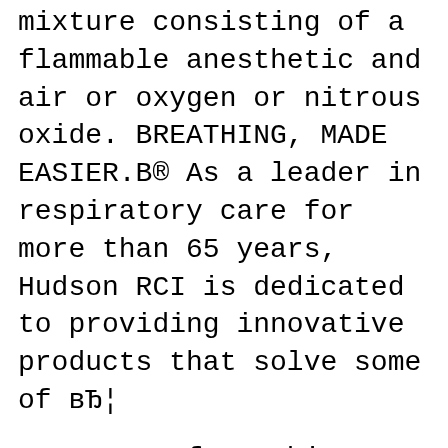mixture consisting of a flammable anesthetic and air or oxygen or nitrous oxide. BREATHING, MADE EASIER.B® As a leader in respiratory care for more than 65 years, Hudson RCI is dedicated to providing innovative products that solve some of вЂ¦
Page 3 Preface This service manual contains a detailed description of the main repair work on the hot HPW NEPTUNE 5 and NEPTUNE 7. Repair work requires a suitable testing workplace with the necessary power supply. If operating errors are evident, refer the customer to the operating instructions. Manufacturer Specifications - 5800, Hudson Rci Please